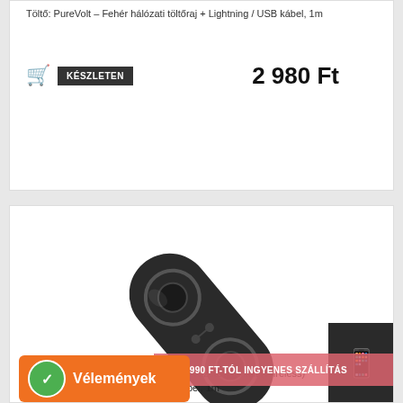Töltő: PureVolt - Fehér hálózati töltőraj + Lightning / USB kábel, 1m
KÉSZLETEN
2 980 Ft
[Figure (photo): XO WX025 wireless charger product photo — dark oval dual-pad wireless charging pad, tilted diagonally]
Telefon töltő: XO WX025 – 2in1 fekete vezeték nélküli (Wireless) ... + fekete Type-C (USB-C) kábel, 1m
7990 FT-TÓL INGYENES SZÁLLÍTÁS
Vélemények